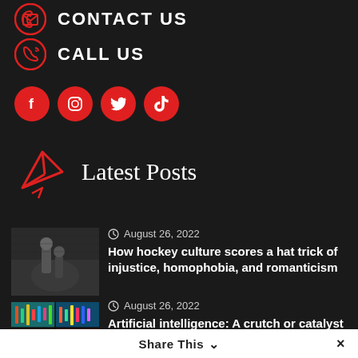CONTACT US
CALL US
[Figure (illustration): Row of four red circular social media icons: Facebook, Instagram, Twitter, TikTok]
Latest Posts
[Figure (photo): Black and white photo of a hockey player]
August 26, 2022
How hockey culture scores a hat trick of injustice, homophobia, and romanticism
[Figure (illustration): Colorful abstract AI-generated art image in grid of four panels]
August 26, 2022
Artificial intelligence: A crutch or catalyst in the renaissance of creativity?
Share This ∨  ✕